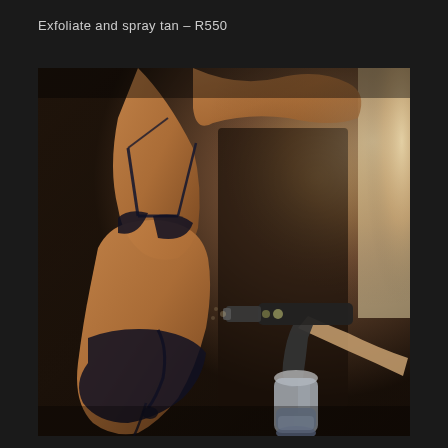Exfoliate and spray tan – R550
[Figure (photo): A person in a black bikini receiving a spray tan treatment. A hand holding a professional spray tan gun with a cylindrical canister is aimed at the person's torso. The background is dark with a bright light source visible on the right side.]